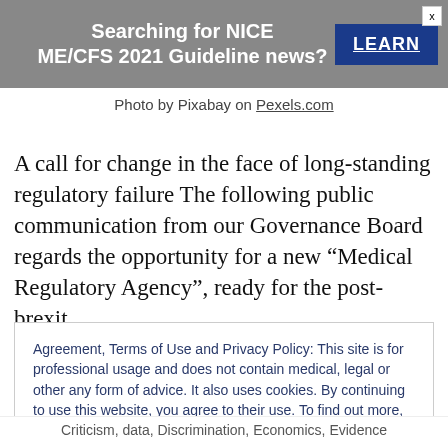[Figure (other): Ad banner: Searching for NICE ME/CFS 2021 Guideline news? LEARN button with close X]
Photo by Pixabay on Pexels.com
A call for change in the face of long-standing regulatory failure The following public communication from our Governance Board regards the opportunity for a new “Medical Regulatory Agency”, ready for the post-brexit
Agreement, Terms of Use and Privacy Policy: This site is for professional usage and does not contain medical, legal or other any form of advice. It also uses cookies. By continuing to use this website, you agree to their use. To find out more, including how to control cookies, see here Agreement, Terms of Use and Privacy Policy
CLOSE AND ACCEPT
Criticism, data, Discrimination, Economics, Evidence